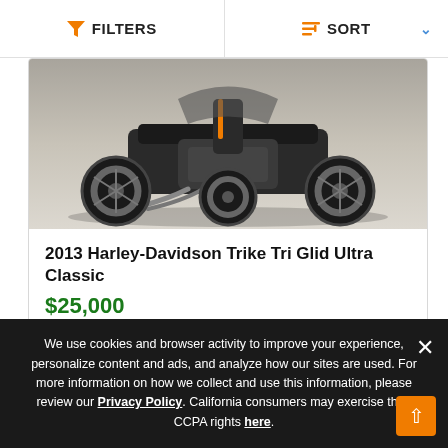FILTERS   SORT
[Figure (photo): Bottom portion of a Harley-Davidson trike motorcycle photographed from above/front, showing wheels, engine, and chassis on a concrete surface.]
2013 Harley-Davidson Trike Tri Glid Ultra Classic
$25,000
Make An Offer
Miles   9,228
1
We use cookies and browser activity to improve your experience, personalize content and ads, and analyze how our sites are used. For more information on how we collect and use this information, please review our Privacy Policy. California consumers may exercise their CCPA rights here.